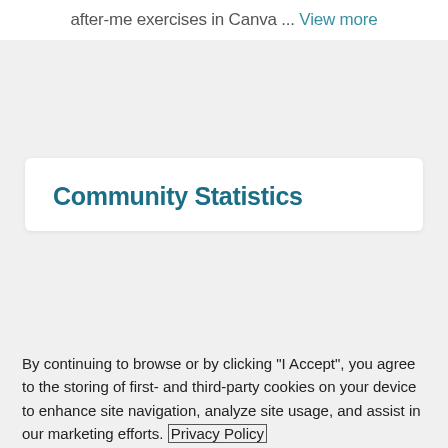after-me exercises in Canva ... View more
Community Statistics
By continuing to browse or by clicking "I Accept", you agree to the storing of first- and third-party cookies on your device to enhance site navigation, analyze site usage, and assist in our marketing efforts. Privacy Policy
I Accept
Cookies Settings